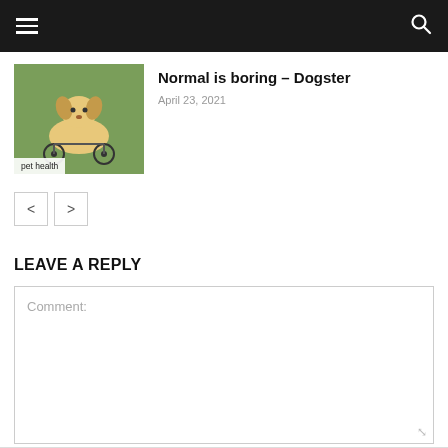[Figure (photo): A dog in a wheelchair on grass, labeled 'pet health']
Normal is boring – Dogster
April 23, 2021
< >
LEAVE A REPLY
Comment: